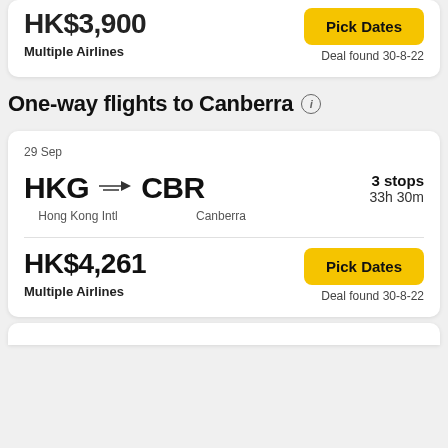Multiple Airlines
Deal found 30-8-22
One-way flights to Canberra
29 Sep
HKG → CBR  Hong Kong Intl  Canberra  3 stops  33h 30m
HK$4,261
Multiple Airlines
Deal found 30-8-22